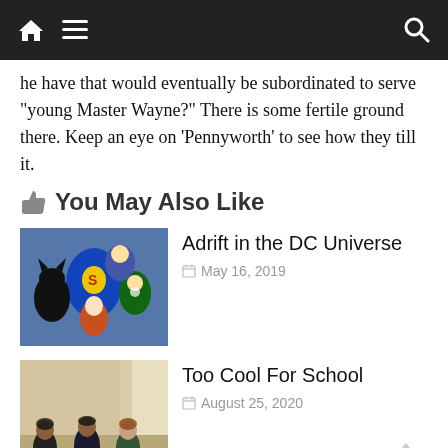Navigation bar with home, menu, and search icons
he have that would eventually be subordinated to serve “young Master Wayne?” There is some fertile ground there. Keep an eye on ‘Pennyworth’ to see how they till it.
👍 You May Also Like
[Figure (illustration): Animated DC superhero characters including Superman, Batman, and others]
Adrift in the DC Universe
May 16, 2019
[Figure (photo): Live action scene with three women running or moving in a room]
Too Cool For School
August 25, 2020